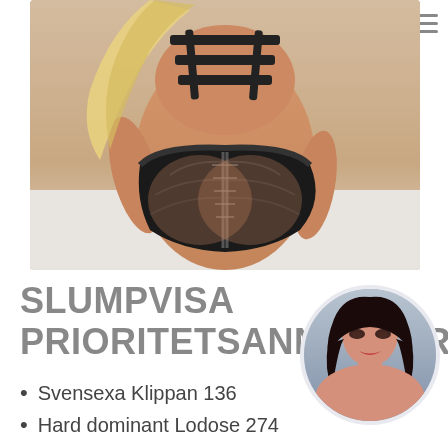[Figure (photo): Photo of a person in black lingerie, viewed from behind, kneeling on a white surface]
SLUMPVISA PRIORITETSANNONSER
[Figure (photo): Circular portrait photo of a dark-haired woman]
Svensexa Klippan 136
Hard dominant Lodose 274
Uniforms Bjuv 242